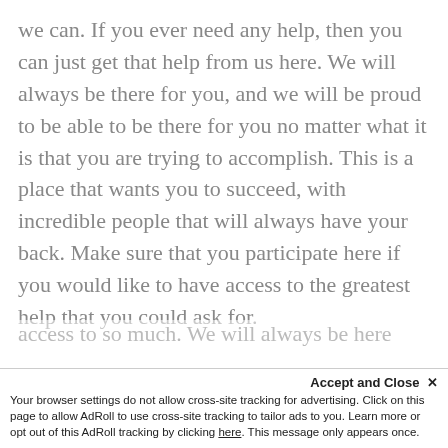we can. If you ever need any help, then you can just get that help from us here. We will always be there for you, and we will be proud to be able to be there for you no matter what it is that you are trying to accomplish. This is a place that wants you to succeed, with incredible people that will always have your back. Make sure that you participate here if you would like to have access to the greatest help that you could ask for.
We teach you so much, and we are proud to be able to teach you great things. Make sure that you join us here if you would like to have
Accept and Close ✕
Your browser settings do not allow cross-site tracking for advertising. Click on this page to allow AdRoll to use cross-site tracking to tailor ads to you. Learn more or opt out of this AdRoll tracking by clicking here. This message only appears once.